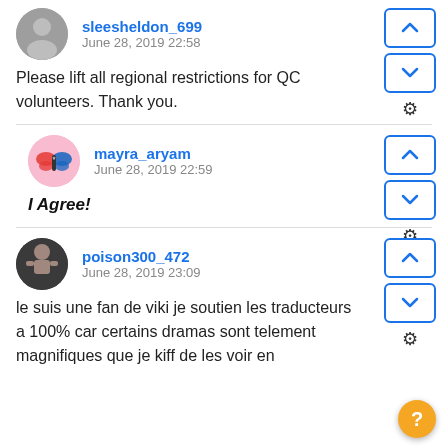sleesheldon_699
June 28, 2019 22:58
Please lift all regional restrictions for QC volunteers. Thank you.
mayra_aryam
June 28, 2019 22:59
I Agree!
poison300_472
June 28, 2019 23:09
le suis une fan de viki je soutien les traducteurs a 100% car certains dramas sont telement magnifiques que je kiff de les voir en